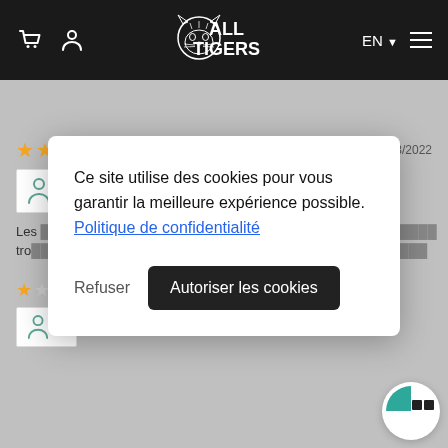ALL TIGERS — EN navigation header
★★★★☆  29/03/2022
Martine Rueher  Verified
Les... tro...
Ce site utilise des cookies pour vous garantir la meilleure expérience possible. Politique de confidentialité
Refuser   Autoriser les cookies
★ E